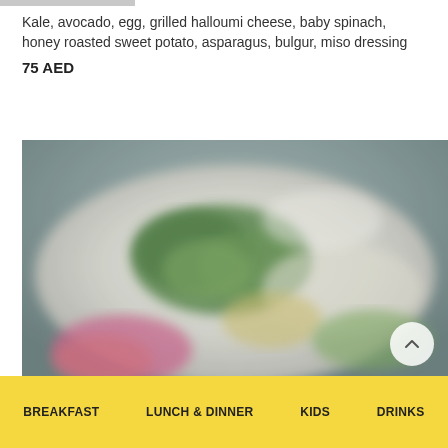Kale, avocado, egg, grilled halloumi cheese, baby spinach, honey roasted sweet potato, asparagus, bulgur, miso dressing
75 AED
[Figure (photo): A blurred close-up photo of a salad dish on a plate, showing greens, vegetables in soft focus with bokeh effect]
BREAKFAST   LUNCH & DINNER   KIDS   DRINKS